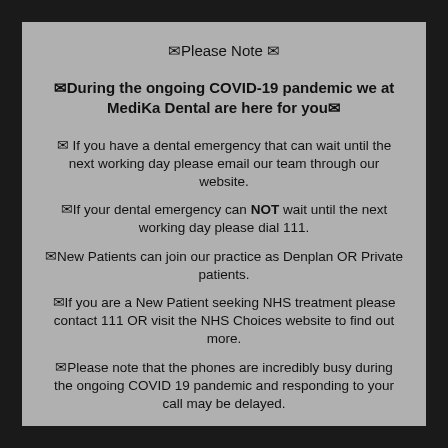✉Please Note ✉
✉During the ongoing COVID-19 pandemic we at MediKa Dental are here for you✉
✉ If you have a dental emergency that can wait until the next working day please email our team through our website.
✉If your dental emergency can NOT wait until the next working day please dial 111.
✉New Patients can join our practice as Denplan OR Private patients.
✉If you are a New Patient seeking NHS treatment please contact 111 OR visit the NHS Choices website to find out more.
✉Please note that the phones are incredibly busy during the ongoing COVID 19 pandemic and responding to your call may be delayed.
✉Should you choose to leave a voicemail, we would ask that you bear with our team whilst they endeavour to attend to a large number of...